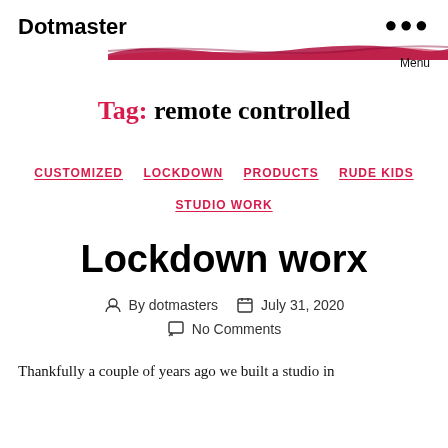Dotmaster
Tag: remote controlled
CUSTOMIZED   LOCKDOWN   PRODUCTS   RUDE KIDS   STUDIO WORK
Lockdown worx
By dotmasters   July 31, 2020   No Comments
Thankfully a couple of years ago we built a studio in